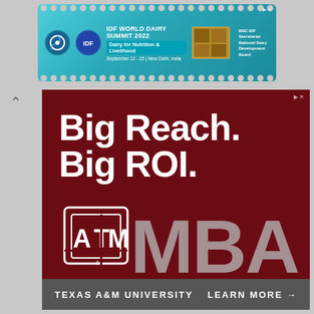[Figure (infographic): IDF World Dairy Summit 2022 advertisement banner with stamp-style border, logos, text: 'IDF WORLD DAIRY SUMMIT 2022 Dairy for Nutrition & Livelihood September 12-15 | New Delhi, India' with BNC IDF Secretariat National Dairy Development Board logo]
[Figure (infographic): Texas A&M University MBA advertisement on dark maroon background with large white bold text 'Big Reach. Big ROI.' ATM logo and large gray 'MBA' text, bottom footer bar in gray with 'TEXAS A&M UNIVERSITY' and 'LEARN MORE →']